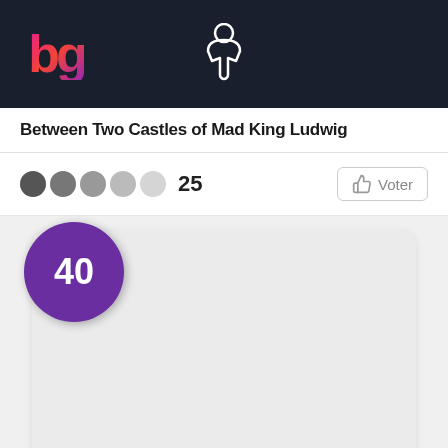[Figure (logo): bg logo in pink/red gradient with meeple icon on dark navy header background]
Between Two Castles of Mad King Ludwig
25 (rating count with 5 circles/stars) Voter button
[Figure (other): Light gray card area with purple circular rank badge showing number 40]
Taiwan